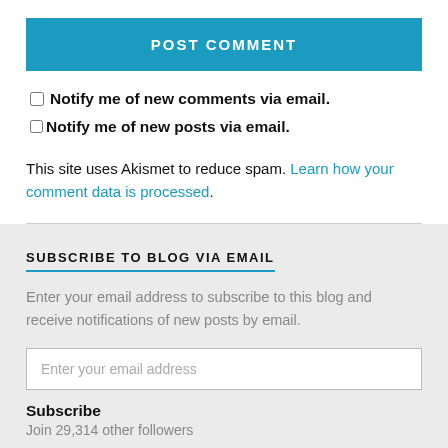POST COMMENT
Notify me of new comments via email.
Notify me of new posts via email.
This site uses Akismet to reduce spam. Learn how your comment data is processed.
SUBSCRIBE TO BLOG VIA EMAIL
Enter your email address to subscribe to this blog and receive notifications of new posts by email.
Enter your email address
Subscribe
Join 29,314 other followers